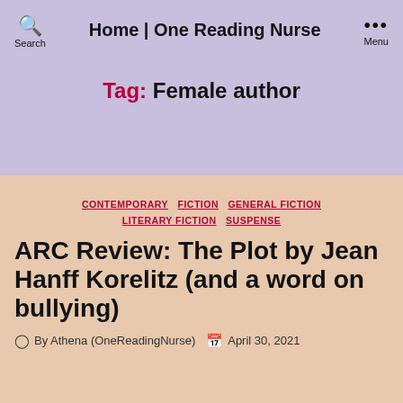Home | One Reading Nurse
Tag: Female author
CONTEMPORARY  FICTION  GENERAL FICTION  LITERARY FICTION  SUSPENSE
ARC Review: The Plot by Jean Hanff Korelitz (and a word on bullying)
By Athena (OneReadingNurse)   April 30, 2021